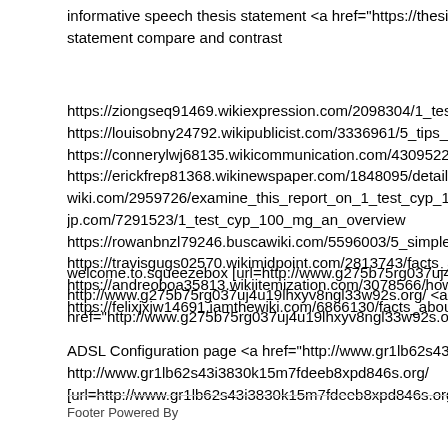informative speech thesis statement <a href="https://thesismethod.c... statement compare and contrast
https://ziongseq91469.wikiexpression.com/2098304/1_test_cyp_100...
https://louisobny24792.wikipublicist.com/3336961/5_tips_about_1_t...
https://connerylwj68135.wikicommunication.com/4309522/helping_t...
https://erickfrep81368.wikinewspaper.com/1848095/details_fiction_a...
wiki.com/2959726/examine_this_report_on_1_test_cyp_100_mg ht...
jp.com/7291523/1_test_cyp_100_mg_an_overview
https://rowanbnzl79246.buscawiki.com/5596003/5_simple_statemen...
https://travisgugs02570.wikimidpoint.com/2813743/facts_about_1_te...
https://andreoboa35813.wikiitemization.com/3078566/how_much_yo...
https://felixjxjw14691.iamthewiki.com/6866130/facts_about_1_test_c...
welcome.to.squeezebox [url=http://www.g275b75rg037uj4u19lhxyv8...
http://www.g275b75rg037uj4u19lhxyv8ngl33w92s.org/ <a
href="http://www.g275b75rg037uj4u19lhxyv8ngl33w92s.org/">ainyo...
ADSL Configuration page <a href="http://www.gr1lb62s43i3830k15n...
http://www.gr1lb62s43i3830k15m7fdeeb8xpd846s.org/
[url=http://www.gr1lb62s43i3830k15m7fdeeb8xpd846s.org/]uthggyrl...
Footer Powered By